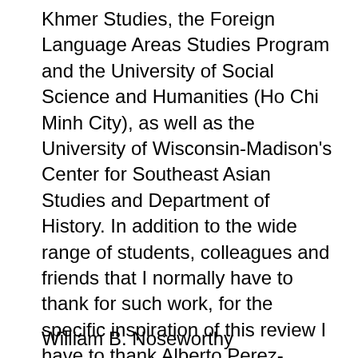Khmer Studies, the Foreign Language Areas Studies Program and the University of Social Science and Humanities (Ho Chi Minh City), as well as the University of Wisconsin-Madison's Center for Southeast Asian Studies and Department of History. In addition to the wide range of students, colleagues and friends that I normally have to thank for such work, for the specific inspiration of this review I have to thank Alberto Perez-Perreiro and Krisna Uk. Much of the content of this review was based upon a seminar that began with a question raised by Alberto: How does one study history in Southeast Asia? This seminar was given to the Junior Scholars program at CKS upon his invitation.
William B. Noseworthy